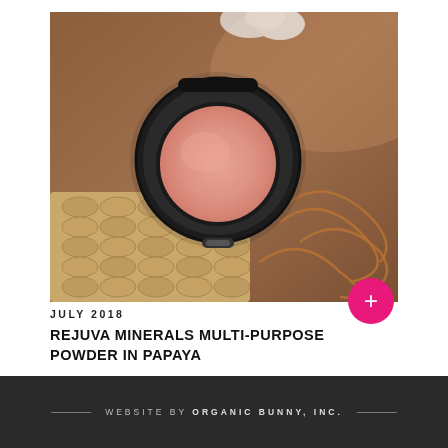[Figure (photo): Close-up photo of an open black compact powder makeup case showing a round pink/blush powder pan, placed on a woven rattan surface with copper wire accessories and a white floral element in the background. Brown warm-toned background.]
JULY 2018
REJUVA MINERALS MULTI-PURPOSE POWDER IN PAPAYA
WEBSITE BY ORGANIC BUNNY, INC.